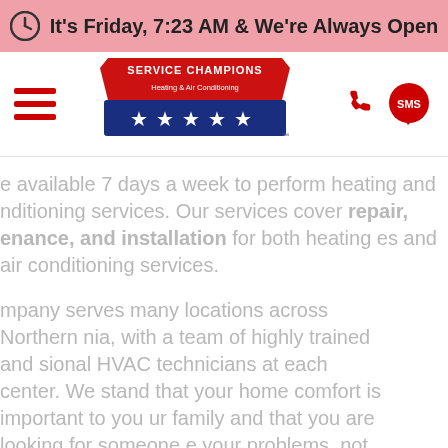It's Friday, 7:23 AM & We're Always Open
[Figure (logo): Service Champions Heating & Air Conditioning logo — red banner with company name and blue star bar below]
e available 7 days a week to perform heating and nditioning services. Our services cover repair, enance, and installation for both heating es and air conditioning services.
mpany serves many locations across Northern nia, with a team of highly trained and sional HVAC technicians at each center. We stand that your home comfort is important to you ur family and that you are looking for someone e your problems, not give you more problems!